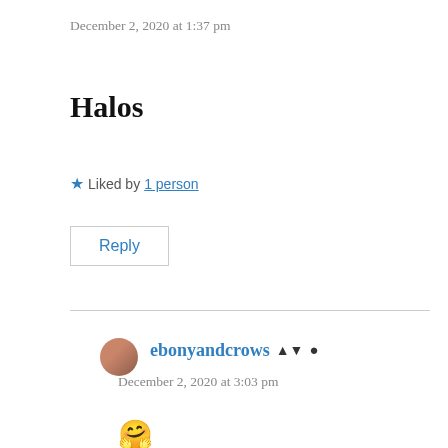December 2, 2020 at 1:37 pm
Halos
★ Liked by 1 person
Reply
ebonyandcrows
December 2, 2020 at 3:03 pm
🤗